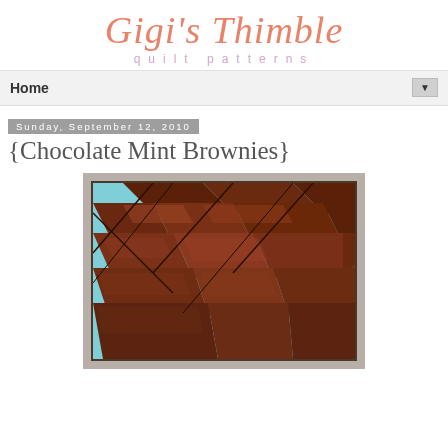Gigi's Thimble quilt patterns
Home
Sunday, September 12, 2010
{Chocolate Mint Brownies}
[Figure (photo): Close-up photo of chocolate mint brownies cut into diamond/square shapes with light blue/mint colored frosting visible between the pieces, viewed from above]